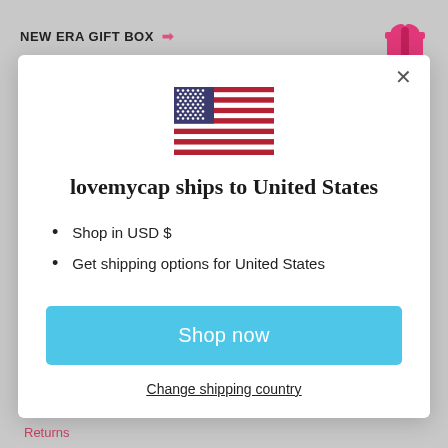NEW ERA GIFT BOX →
[Figure (illustration): US flag SVG illustration]
lovemycap ships to United States
Shop in USD $
Get shipping options for United States
Shop now
Change shipping country
Returns